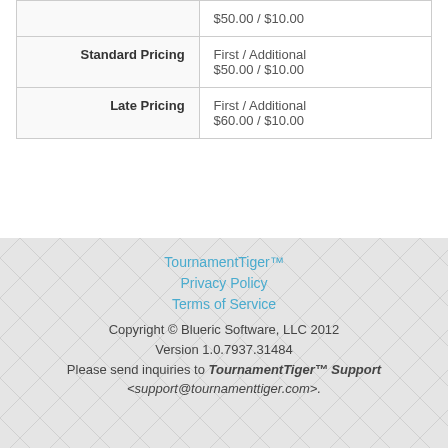|  |  |
| --- | --- |
|  | $50.00 / $10.00 |
| Standard Pricing | First / Additional
$50.00 / $10.00 |
| Late Pricing | First / Additional
$60.00 / $10.00 |
TournamentTiger™
Privacy Policy
Terms of Service
Copyright © Blueric Software, LLC 2012
Version 1.0.7937.31484
Please send inquiries to TournamentTiger™ Support <support@tournamenttiger.com>.